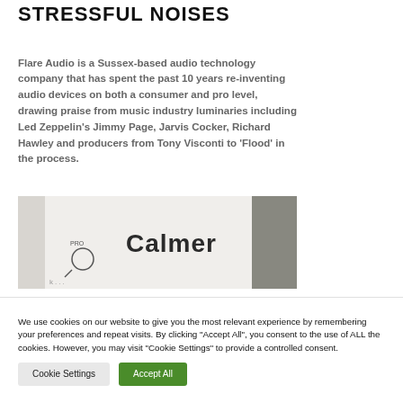STRESSFUL NOISES
Flare Audio is a Sussex-based audio technology company that has spent the past 10 years re-inventing audio devices on both a consumer and pro level, drawing praise from music industry luminaries including Led Zeppelin's Jimmy Page, Jarvis Cocker, Richard Hawley and producers from Tony Visconti to 'Flood' in the process.
[Figure (photo): Close-up photo of a white product packaging or card with the word 'Calmer' printed on it in large text, along with a small logo or icon, placed on a grey surface.]
We use cookies on our website to give you the most relevant experience by remembering your preferences and repeat visits. By clicking "Accept All", you consent to the use of ALL the cookies. However, you may visit "Cookie Settings" to provide a controlled consent.
Cookie Settings  Accept All